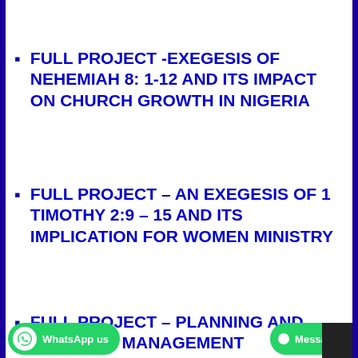FULL PROJECT -EXEGESIS OF NEHEMIAH 8: 1-12 AND ITS IMPACT ON CHURCH GROWTH IN NIGERIA
FULL PROJECT – AN EXEGESIS OF 1 TIMOTHY 2:9 – 15 AND ITS IMPLICATION FOR WOMEN MINISTRY
FULL PROJECT – PLANNING AND ING: VITAL MANAGEMENT TOOLS FOR CHURCH GROWTH AND